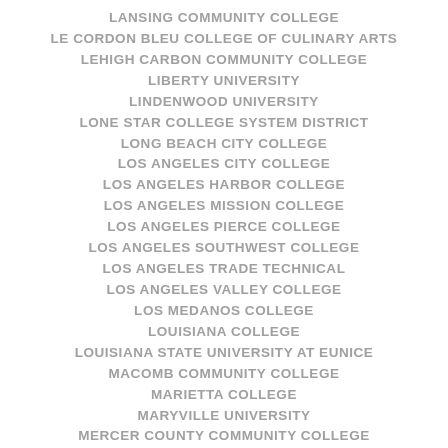LANSING COMMUNITY COLLEGE
LE CORDON BLEU COLLEGE OF CULINARY ARTS
LEHIGH CARBON COMMUNITY COLLEGE
LIBERTY UNIVERSITY
LINDENWOOD UNIVERSITY
LONE STAR COLLEGE SYSTEM DISTRICT
LONG BEACH CITY COLLEGE
LOS ANGELES CITY COLLEGE
LOS ANGELES HARBOR COLLEGE
LOS ANGELES MISSION COLLEGE
LOS ANGELES PIERCE COLLEGE
LOS ANGELES SOUTHWEST COLLEGE
LOS ANGELES TRADE TECHNICAL
LOS ANGELES VALLEY COLLEGE
LOS MEDANOS COLLEGE
LOUISIANA COLLEGE
LOUISIANA STATE UNIVERSITY AT EUNICE
MACOMB COMMUNITY COLLEGE
MARIETTA COLLEGE
MARYVILLE UNIVERSITY
MERCER COUNTY COMMUNITY COLLEGE